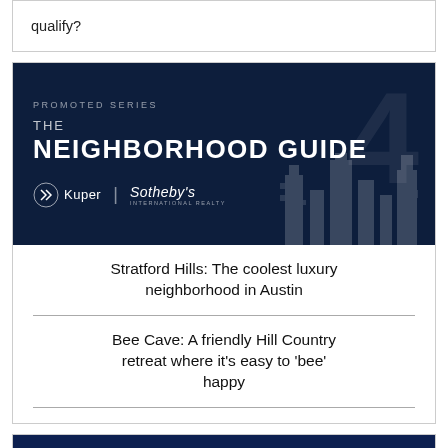qualify?
[Figure (illustration): The Neighborhood Guide banner for Kuper Sotheby's International Realty promoted series, dark navy background with large semi-transparent '4' numeral and building silhouettes]
Stratford Hills: The coolest luxury neighborhood in Austin
Bee Cave: A friendly Hill Country retreat where it's easy to 'bee' happy
Georgetown: Unique character and small-town charm close to Austin
[Figure (illustration): Promoted series presented by Travel Texas banner, dark blue background with partial text 'LET'S ... TEXAS']